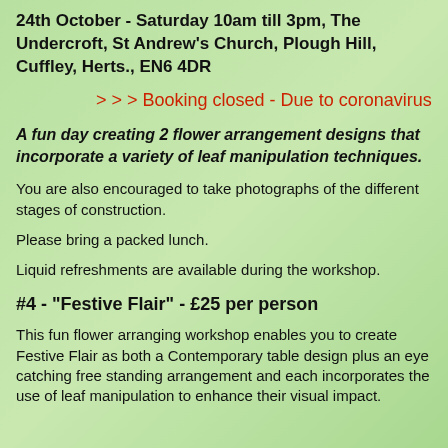24th October - Saturday 10am till 3pm, The Undercroft, St Andrew's Church, Plough Hill, Cuffley, Herts., EN6 4DR
> > > Booking closed - Due to coronavirus
A fun day creating 2 flower arrangement designs that incorporate a variety of leaf manipulation techniques.
You are also encouraged to take photographs of the different stages of construction.
Please bring a packed lunch.
Liquid refreshments are available during the workshop.
#4 - "Festive Flair" - £25 per person
This fun flower arranging workshop enables you to create Festive Flair as both a Contemporary table design plus an eye catching free standing arrangement and each incorporates the use of leaf manipulation to enhance their visual impact.